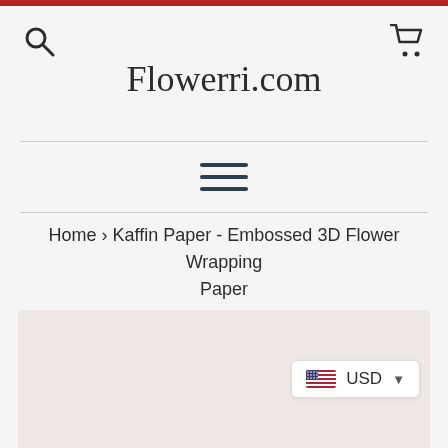Flowerri.com
Home › Kaffin Paper - Embossed 3D Flower Wrapping Paper
[Figure (photo): Product image area showing wrapping paper with light pink/beige color, partially visible]
USD